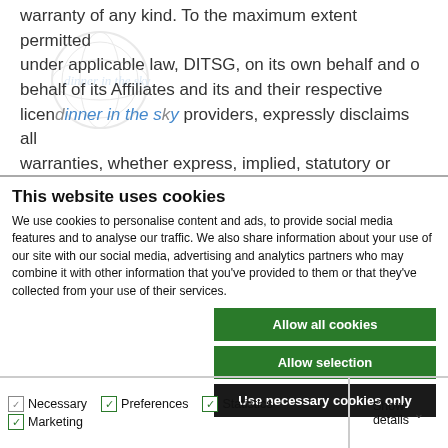warranty of any kind. To the maximum extent permitted under applicable law, DITSG, on its own behalf and on behalf of its Affiliates and its and their respective licensors and service providers, expressly disclaims all warranties, whether express, implied, statutory or otherwise, with respect to the website, including all
This website uses cookies
We use cookies to personalise content and ads, to provide social media features and to analyse our traffic. We also share information about your use of our site with our social media, advertising and analytics partners who may combine it with other information that you've provided to them or that they've collected from your use of their services.
Allow all cookies
Allow selection
Use necessary cookies only
Necessary  Preferences  Statistics  Marketing  Show details